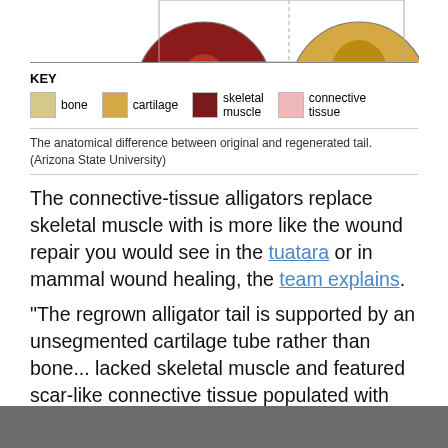[Figure (illustration): Partial cross-sectional diagram of original and regenerated alligator tail anatomy — top portion is cropped, showing circular cross-sections with colored regions representing bone, cartilage, skeletal muscle, and connective tissue.]
KEY
[Figure (infographic): Color key legend showing four tissue types: bone (pale yellow), cartilage (golden yellow), skeletal muscle (dark red/maroon), connective tissue (light pink).]
The anatomical difference between original and regenerated tail. (Arizona State University)
The connective-tissue alligators replace skeletal muscle with is more like the wound repair you would see in the tuatara or in mammal wound healing, the team explains.
"The regrown alligator tail is supported by an unsegmented cartilage tube rather than bone... lacked skeletal muscle and featured scar-like connective tissue populated with nerves and